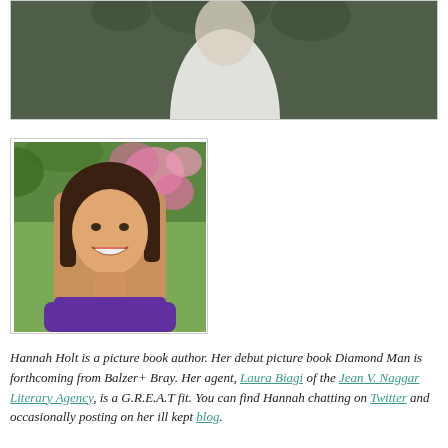[Figure (photo): Partial photo at top of page showing a figure in white against a dark blurred background (trees/foliage)]
[Figure (photo): Portrait photo of Hannah Holt, a woman with brown shoulder-length hair, smiling, wearing a purple top, with pink flowers and green foliage in the background]
Hannah Holt is a picture book author. Her debut picture book Diamond Man is forthcoming from Balzer+ Bray. Her agent, Laura Biagi of the Jean V. Naggar Literary Agency, is a G.R.E.A.T fit. You can find Hannah chatting on Twitter and occasionally posting on her ill kept blog.